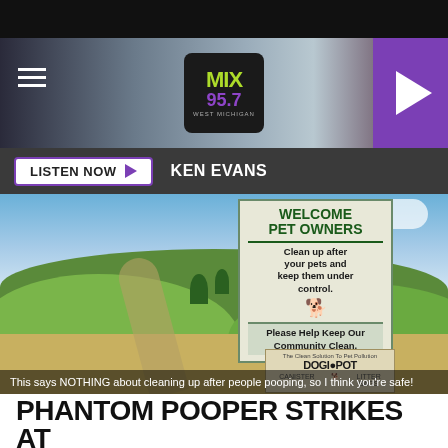[Figure (screenshot): MIX 95.7 West Michigan radio station website header with hamburger menu, logo, and purple play button]
LISTEN NOW ► KEN EVANS
[Figure (photo): Outdoor park scene with green rolling hills, blue sky with clouds, a winding path, fence, and a pet owner sign reading 'WELCOME PET OWNERS - Clean up after your pets and keep them under control. Please Help Keep Our Community Clean.' with a DOGIPOT station below]
This says NOTHING about cleaning up after people pooping, so I think you're safe!
PHANTOM POOPER STRIKES AT